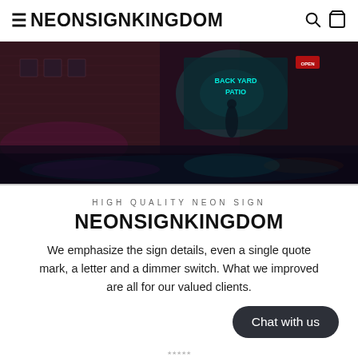≡ NEONSIGNKINGDOM 🔍 🛍
[Figure (photo): Nighttime street scene with neon signs illuminating a wet sidewalk. A person stands near a glowing teal/cyan neon sign reading 'BACKYARD PATIO'. Brick building facade with various lit signs. Reflections on the wet pavement in purple and teal tones.]
HIGH QUALITY NEON SIGN
NEONSIGNKINGDOM
We emphasize the sign details, even a single quote mark, a letter and a dimmer switch. What we improved are all for our valued clients.
Chat with us
★★★★★